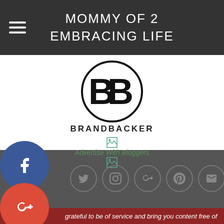MOMMY OF 2
EMBRACING LIFE
[Figure (logo): BrandBacker logo — two overlapping B letters inside a circle, with BRANDBACKER text below]
[Figure (other): Broken image placeholder icons and 'Advertise With Bloggers' text link]
[Figure (infographic): Row of social media icon circles (Twitter, Instagram, Google+, Pinterest, Email, LinkedIn) on dark background]
[Figure (infographic): Floating social share buttons on left side: Facebook (f), Google+ (G+), Twitter bird, Pinterest (P), Blogger (B), More (...)]
grateful to be of service and bring you content free of